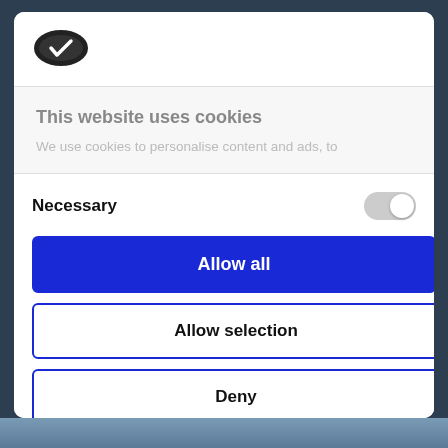[Figure (logo): Cookiebot logo — dark oval cookie icon with checkmark]
This website uses cookies
We use cookies to personalise content and ads, to
Necessary
Allow all
Allow selection
Deny
Powered by Cookiebot by Usercentrics